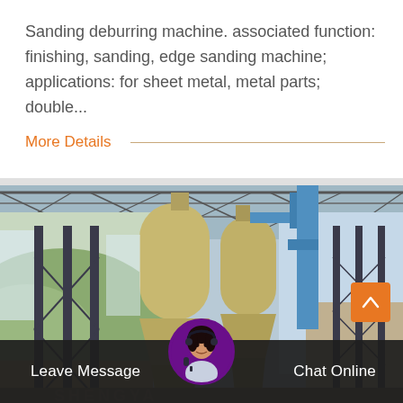Sanding deburring machine. associated function: finishing, sanding, edge sanding machine; applications: for sheet metal, metal parts; double...
More Details
[Figure (photo): Industrial photo of large yellow cylindrical dust collector / cyclone separator machines inside a factory building with a steel frame structure, green hills visible outside]
Leave Message
Chat Online